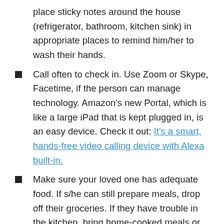place sticky notes around the house (refrigerator, bathroom, kitchen sink) in appropriate places to remind him/her to wash their hands.
Call often to check in. Use Zoom or Skype, Facetime, if the person can manage technology. Amazon's new Portal, which is like a large iPad that is kept plugged in, is an easy device. Check it out: It's a smart, hands-free video calling device with Alexa built-in.
Make sure your loved one has adequate food. If s/he can still prepare meals, drop off their groceries. If they have trouble in the kitchen, bring home-cooked meals or make arrangements with an organization such as Meals on Wheels that can deliver foods.
If you have to go inside the person's home, make sure you have on a mask and gloves, and maintain physical distance as much as possible.